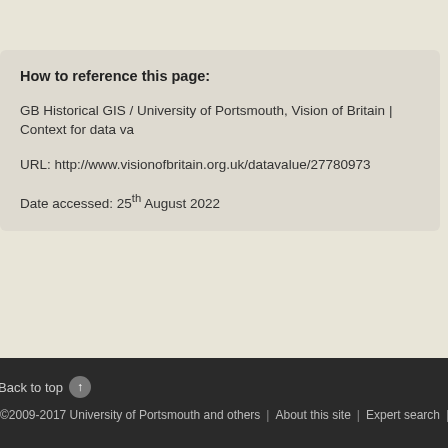How to reference this page:
GB Historical GIS / University of Portsmouth, Vision of Britain | Context for data va
URL: http://www.visionofbritain.org.uk/datavalue/27780973
Date accessed: 25th August 2022
Back to top | ©2009-2017 University of Portsmouth and others | About this site | Expert search | Web